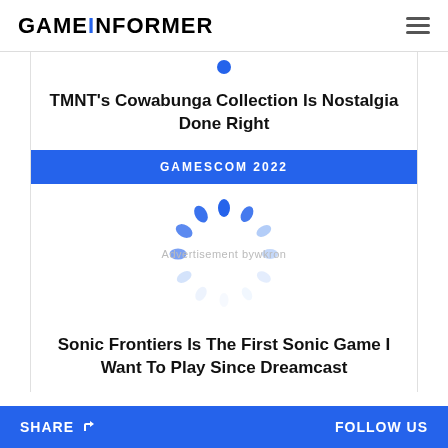GAMEINFORMER
TMNT's Cowabunga Collection Is Nostalgia Done Right
GAMESCOM 2022
[Figure (other): Loading spinner animation with blue dots in a circular pattern, overlaid on an advertisement area with text 'Advertisement bywkron']
Sonic Frontiers Is The First Sonic Game I Want To Play Since Dreamcast
SHARE   FOLLOW US